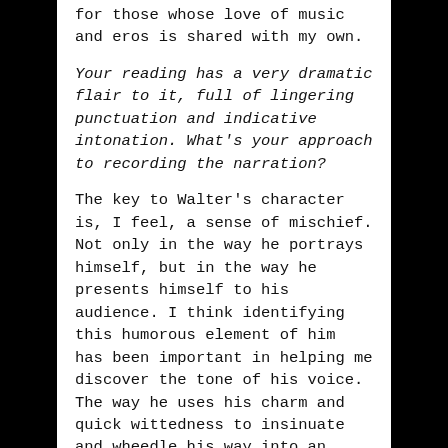for those whose love of music and eros is shared with my own.
Your reading has a very dramatic flair to it, full of lingering punctuation and indicative intonation. What's your approach to recording the narration?
The key to Walter's character is, I feel, a sense of mischief. Not only in the way he portrays himself, but in the way he presents himself to his audience. I think identifying this humorous element of him has been important in helping me discover the tone of his voice. The way he uses his charm and quick wittedness to insinuate and wheedle his way into an advantageous erotic situation is always conspiratorially imparted to his audience. His tone is self assured even when he is self doubting, he delights in his own prurience... he relishes in his use of bawdy words ...the analysis of all these elements of his character has undoubtedly pointed me in the right direction towards finding his voice. I hope that my narration